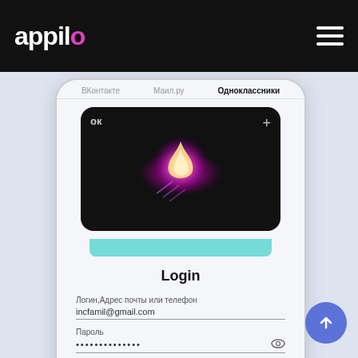appilo
[Figure (screenshot): Mobile phone mockup showing Odnoklassniki app login screen with a dark app card featuring a glowing pink/purple orb, Login title, email field with incfamil@gmail.com, password field with dots, and a login button partially visible]
ВКонтакте    Маил.ру    Одноклассники
Login
Логин,Адрес почты или телефон
incfamil@gmail.com
Пароль
••••••••••••••